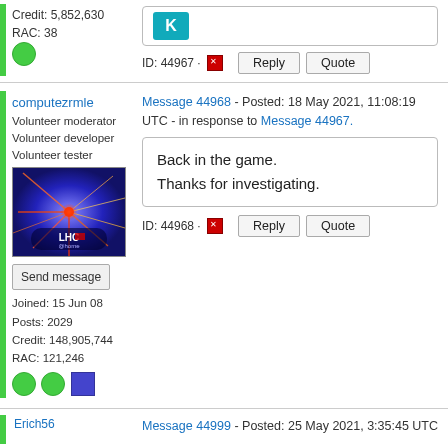Credit: 5,852,630
RAC: 38
ID: 44967 · Reply Quote
computezrmle
Volunteer moderator
Volunteer developer
Volunteer tester
[Figure (photo): LHC@home avatar with particle collision graphic on blue background]
Send message
Joined: 15 Jun 08
Posts: 2029
Credit: 148,905,744
RAC: 121,246
Message 44968 - Posted: 18 May 2021, 11:08:19 UTC - in response to Message 44967.
Back in the game.
Thanks for investigating.
ID: 44968 · Reply Quote
Erich56
Message 44999 - Posted: 25 May 2021, 3:35:45 UTC